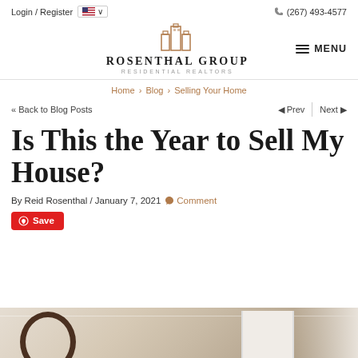Login / Register  🇺🇸 ∨   (267) 493-4577
[Figure (logo): Rosenthal Group Residential Realtors logo with building icon]
MENU
Home › Blog › Selling Your Home
« Back to Blog Posts   ◄ Prev  |  Next ►
Is This the Year to Sell My House?
By Reid Rosenthal / January 7, 2021  💬 Comment
Save
[Figure (photo): Interior room photo showing a round mirror and door frame]